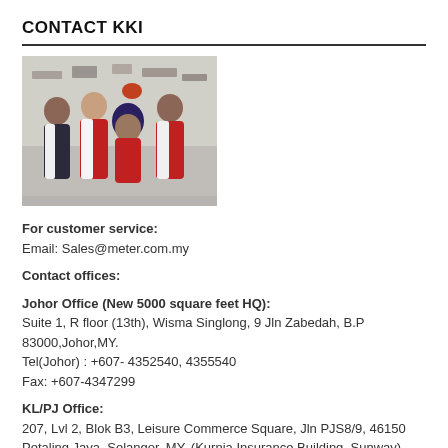CONTACT KKI
[Figure (photo): Group photo of four KKI staff members in red and dark uniforms standing together in an office/showroom environment.]
For customer service:
Email: Sales@meter.com.my
Contact offices:
Johor Office (New 5000 square feet HQ):
Suite 1, R floor (13th), Wisma Singlong, 9 Jln Zabedah, B.P
83000,Johor,MY.
Tel(Johor) : +607- 4352540, 4355540
Fax: +607-4347299
KL/PJ Office:
207, Lvl 2, Blok B3, Leisure Commerce Square, Jln PJS8/9, 46150 Petaling Jaya, Selangor, MY. (Kurnia Insurance Building, Sunway)
Tel(KL) : +603- 78762460, 78762463
Fax(KL): +603-78762454